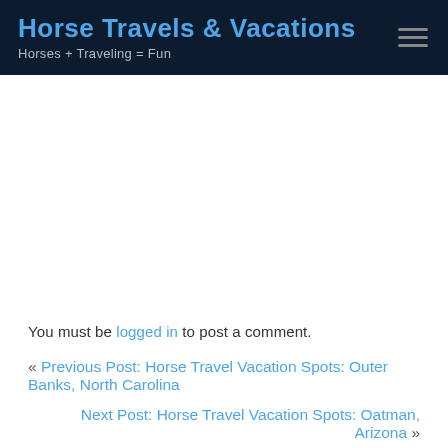Horse Travels & Vacations — Horses + Traveling = Fun
You must be logged in to post a comment.
« Previous Post: Horse Travel Vacation Spots: Outer Banks, North Carolina
Next Post: Horse Travel Vacation Spots: Oatman, Arizona »